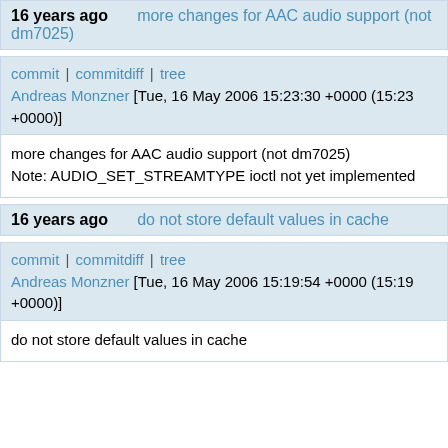16 years ago   more changes for AAC audio support (not dm7025)
commit | commitdiff | tree
Andreas Monzner [Tue, 16 May 2006 15:23:30 +0000 (15:23 +0000)]
more changes for AAC audio support (not dm7025)
Note: AUDIO_SET_STREAMTYPE ioctl not yet implemented
16 years ago   do not store default values in cache
commit | commitdiff | tree
Andreas Monzner [Tue, 16 May 2006 15:19:54 +0000 (15:19 +0000)]
do not store default values in cache